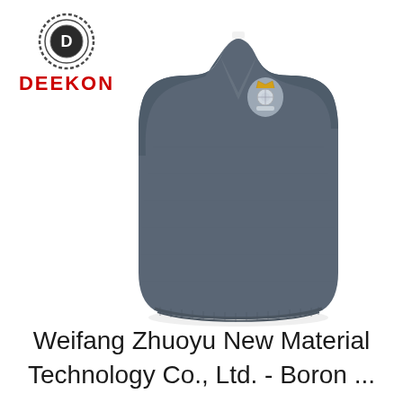[Figure (logo): DEEKON brand logo: circular emblem with 'D' letter inside concentric rings with dotted border pattern, and red 'DEEKON' text below]
[Figure (photo): A dark grey/slate blue sleeveless V-neck knitted sweater vest laid flat on white background, with a small embroidered military or royal crest badge on the upper left chest area]
Weifang Zhuoyu New Material Technology Co., Ltd. - Boron ...